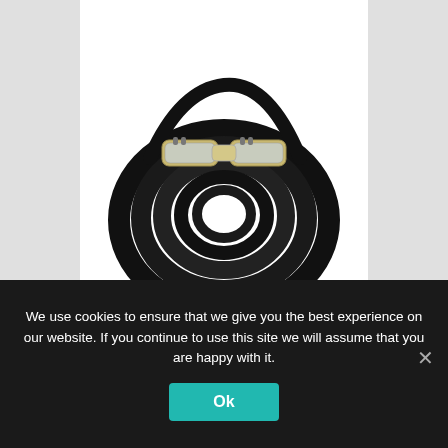[Figure (photo): A coiled black 50-foot extension cord with clear/transparent lighted connector ends, shown on a white background.]
50' BLACK 12/3-3 FLAT LINE CONVENTION OSHA EXTENSION POWER CORD LIGHT ENDS
We use cookies to ensure that we give you the best experience on our website. If you continue to use this site we will assume that you are happy with it.